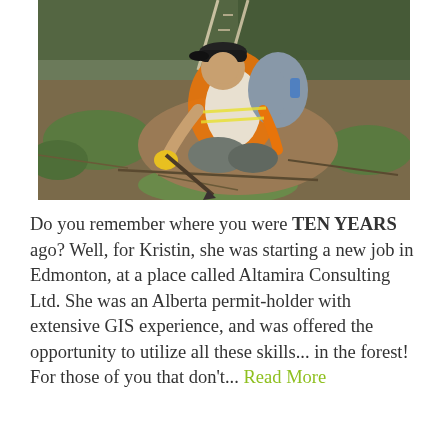[Figure (photo): A person wearing an orange safety vest, black cap, and yellow gloves, kneeling on a forested hillside and using a tool to dig in the ground. They are carrying a grey backpack. The background shows moss-covered ground, twigs, and coniferous trees.]
Do you remember where you were TEN YEARS ago? Well, for Kristin, she was starting a new job in Edmonton, at a place called Altamira Consulting Ltd. She was an Alberta permit-holder with extensive GIS experience, and was offered the opportunity to utilize all these skills... in the forest! For those of you that don't... Read More